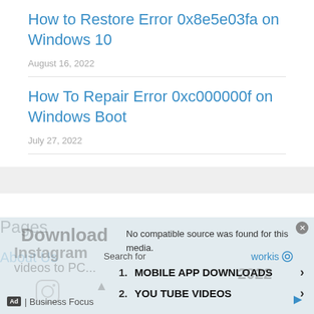How to Restore Error 0x8e5e03fa on Windows 10
August 16, 2022
How To Repair Error 0xc000000f on Windows Boot
July 27, 2022
Pages
About Us
[Figure (screenshot): Ad overlay with video player showing 'No compatible source was found for this media.' Search ad with items: 1. MOBILE APP DOWNLOADS, 2. YOU TUBE VIDEOS. Business Focus branding at bottom.]